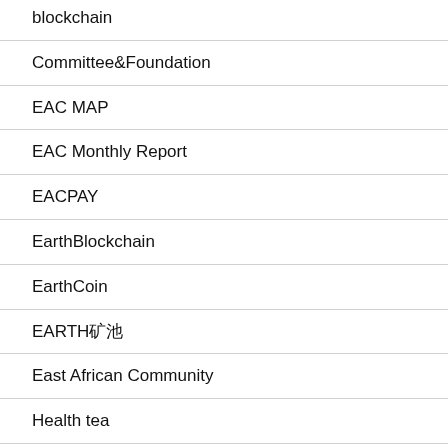blockchain
Committee&Foundation
EAC MAP
EAC Monthly Report
EACPAY
EarthBlockchain
EarthCoin
EARTH矿池
East African Community
Health tea
Miner